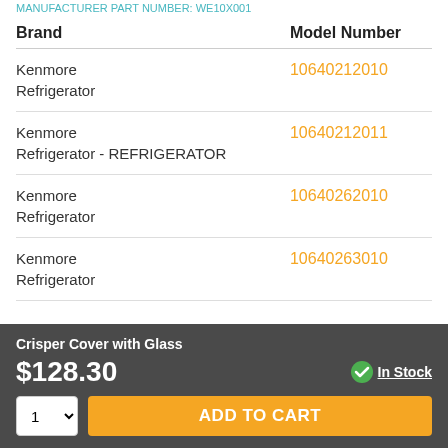MANUFACTURER PART NUMBER: WE10X001
| Brand | Model Number |
| --- | --- |
| Kenmore Refrigerator | 10640212010 |
| Kenmore Refrigerator - REFRIGERATOR | 10640212011 |
| Kenmore Refrigerator | 10640262010 |
| Kenmore Refrigerator | 10640263010 |
Crisper Cover with Glass
$128.30
In Stock
ADD TO CART